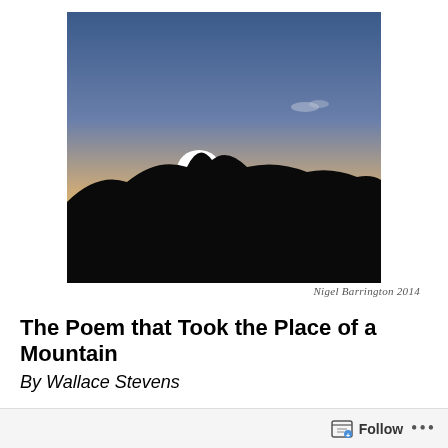[Figure (photo): Silhouette of rolling mountain hills against a sunset sky with a bright white sun just above the horizon, gradient from warm golden-orange near the horizon to deep blue at the top. Mountains appear as dark black silhouettes in the foreground.]
Nigel Barrington 2014
The Poem that Took the Place of a Mountain
By Wallace Stevens
There it was, word for word,